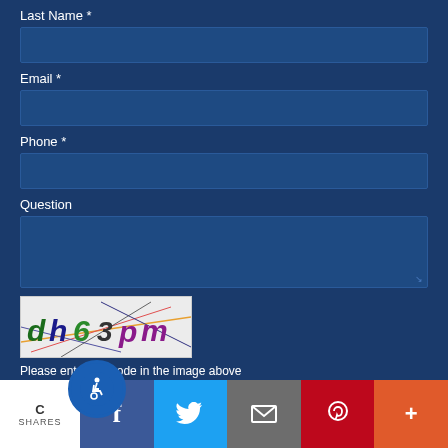Last Name *
Email *
Phone *
Question
[Figure (other): CAPTCHA image showing distorted text 'dh63pm' with colored letters and overlapping diagonal lines on a light gray background]
Please enter the code in the image above
[Figure (infographic): Social sharing bar with accessibility badge, Facebook, Twitter, email, Pinterest, and more buttons. Shows count label SHARES.]